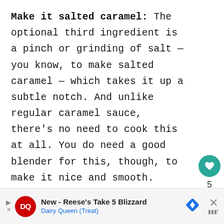Make it salted caramel: The optional third ingredient is a pinch or grinding of salt — you know, to make salted caramel — which takes it up a subtle notch. And unlike regular caramel sauce, there's no need to cook this at all. You do need a good blender for this, though, to make it nice and smooth.
[Figure (other): Social interaction buttons: teal heart/like button with heart icon, count of 5, and a share button with arrow icon]
[Figure (other): Advertisement banner: Dairy Queen ad for New - Reese's Take 5 Blizzard with DQ logo, navigation diamond icon, close X button, and weather widget icon]